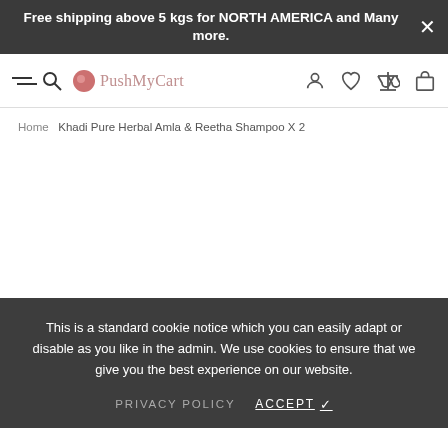Free shipping above 5 kgs for NORTH AMERICA and Many more.
[Figure (screenshot): E-commerce website navigation bar with hamburger menu, search icon, PushMyCart logo, user account icon, wishlist heart icon, compare scales icon, and shopping bag icon]
Home  Khadi Pure Herbal Amla & Reetha Shampoo X 2
This is a standard cookie notice which you can easily adapt or disable as you like in the admin. We use cookies to ensure that we give you the best experience on our website.
PRIVACY POLICY    ACCEPT ✓